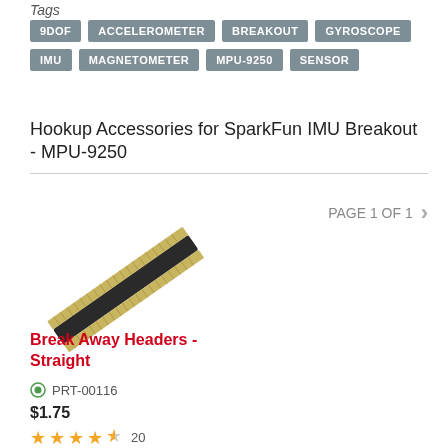Tags
9DOF
ACCELEROMETER
BREAKOUT
GYROSCOPE
IMU
MAGNETOMETER
MPU-9250
SENSOR
Hookup Accessories for SparkFun IMU Breakout - MPU-9250
PAGE 1 OF 1
[Figure (photo): Photo of Break Away Headers - Straight connector strip, gold-colored pins with black plastic header, at an angle]
Break Away Headers - Straight
PRT-00116
$1.75
★★★★½ 20